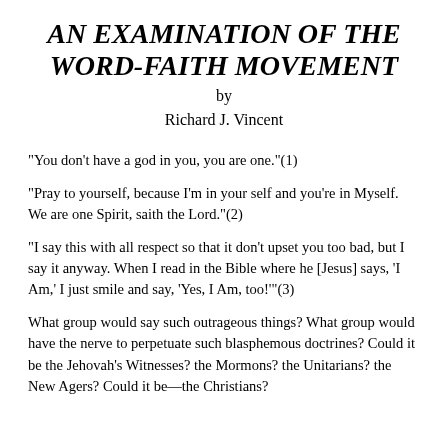AN EXAMINATION OF THE WORD-FAITH MOVEMENT by Richard J. Vincent
"You don't have a god in you, you are one."(1)
"Pray to yourself, because I'm in your self and you're in Myself. We are one Spirit, saith the Lord."(2)
"I say this with all respect so that it don't upset you too bad, but I say it anyway. When I read in the Bible where he [Jesus] says, 'I Am,' I just smile and say, 'Yes, I Am, too!'"(3)
What group would say such outrageous things? What group would have the nerve to perpetuate such blasphemous doctrines? Could it be the Jehovah's Witnesses? the Mormons? the Unitarians? the New Agers? Could it be—the Christians?